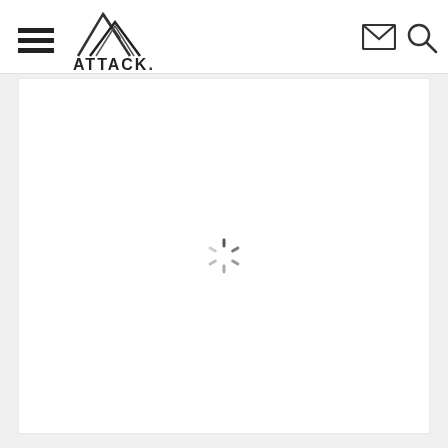[Figure (logo): ATTACK. brand logo with mountain/triangle graphic above text]
[Figure (other): Hamburger menu icon (three horizontal lines) on the left side of the header]
[Figure (other): Email envelope icon on the right side of the header]
[Figure (other): Search/magnifying glass icon on the far right of the header]
[Figure (other): Loading spinner icon (circular dashed spokes) centered in the white content area]